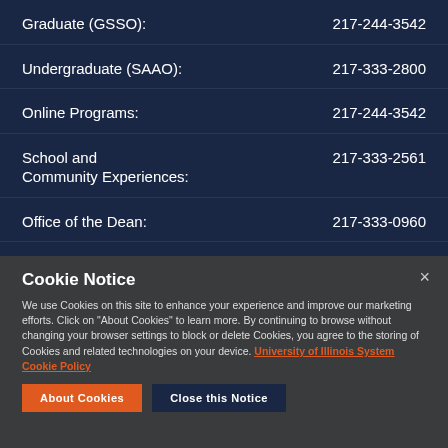Graduate (GSSO): 217-244-3542
Undergraduate (SAAO): 217-333-2800
Online Programs: 217-244-3542
School and Community Experiences: 217-333-2561
Office of the Dean: 217-333-0960
Cookie Notice
We use Cookies on this site to enhance your experience and improve our marketing efforts. Click on “About Cookies” to learn more. By continuing to browse without changing your browser settings to block or delete Cookies, you agree to the storing of Cookies and related technologies on your device. University of Illinois System Cookie Policy